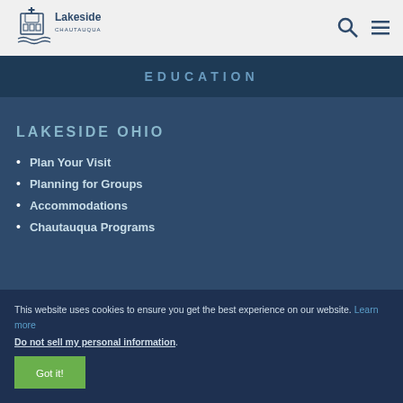Lakeside Chautauqua
EDUCATION
LAKESIDE OHIO
Plan Your Visit
Planning for Groups
Accommodations
Chautauqua Programs
This website uses cookies to ensure you get the best experience on our website. Learn more Do not sell my personal information. Got it!